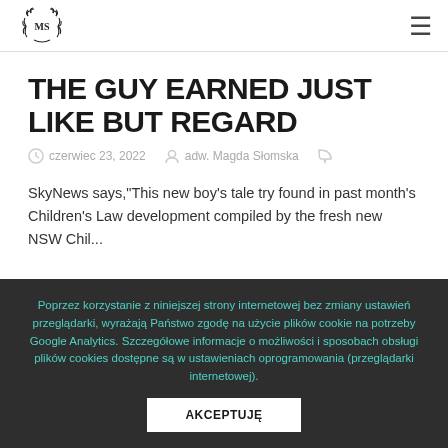MS logo and navigation hamburger menu
THE GUY EARNED JUST LIKE BUT REGARD
czerwiec 23, 2022   adw. Magda Słomska
SkyNews says,"This new boy's tale try found in past month's Children's Law development compiled by the fresh new NSW Chil...
Poprzez korzystanie z niniejszej strony internetowej bez zmiany ustawień przeglądarki, wyrażają Państwo zgodę na użycie plików cookie na potrzeby Google Analytics. Szczegółowe informacje o możliwości i sposobach obsługi plików cookies dostępne są w ustawieniach oprogramowania (przeglądarki internetowej).